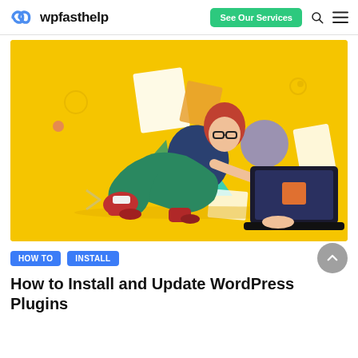wpfasthelp — See Our Services
[Figure (illustration): Yellow background illustration of a woman with red hair and glasses lying on her stomach, reclining and typing on a dark laptop. Decorative geometric shapes scattered around: triangles, rectangles, circles in white, teal, purple, orange, and red. The scene suggests working/browsing on a computer.]
HOW TO
INSTALL
How to Install and Update WordPress Plugins